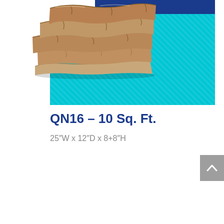[Figure (photo): Product photo of a stone/rock panel veneer on a cyan patterned background with dark blue accent at top. The stone panel appears to be a layered sandstone or similar natural stone product.]
QN16 – 10 Sq. Ft.
25″W x 12″D x 8+8″H